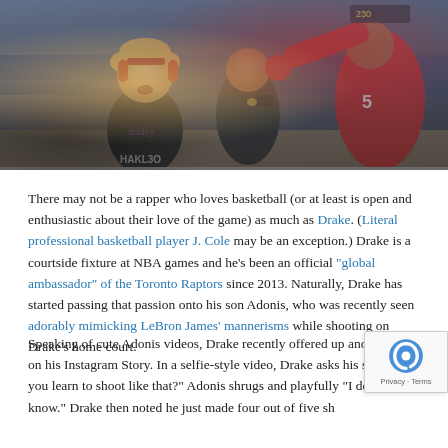[Figure (photo): Photo of a young curly-haired child in a black Spider-Man shirt and red headphones at a basketball game courtside, with Drake visible in the background and a player in a red jersey reaching toward the child.]
There may not be a rapper who loves basketball (or at least is open and enthusiastic about their love of the game) as much as Drake. (Literal professional basketball player J. Cole may be an exception.) Drake is a courtside fixture at NBA games and he's been an official "global ambassador" of the Toronto Raptors since 2013. Naturally, Drake has started passing that passion onto his son Adonis, who was recently seen adorably mimicking LeBron James' mannerisms while shooting on Drake's home court.
Speaking of cute Adonis videos, Drake recently offered up another one on his Instagram Story. In a selfie-style video, Drake asks his so where'd you learn to shoot like that?" Adonis shrugs and playfully "I don't know." Drake then noted he just made four out of five shots and